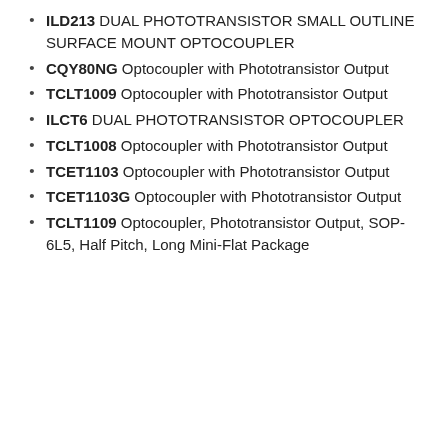ILD213 DUAL PHOTOTRANSISTOR SMALL OUTLINE SURFACE MOUNT OPTOCOUPLER
CQY80NG Optocoupler with Phototransistor Output
TCLT1009 Optocoupler with Phototransistor Output
ILCT6 DUAL PHOTOTRANSISTOR OPTOCOUPLER
TCLT1008 Optocoupler with Phototransistor Output
TCET1103 Optocoupler with Phototransistor Output
TCET1103G Optocoupler with Phototransistor Output
TCLT1109 Optocoupler, Phototransistor Output, SOP-6L5, Half Pitch, Long Mini-Flat Package